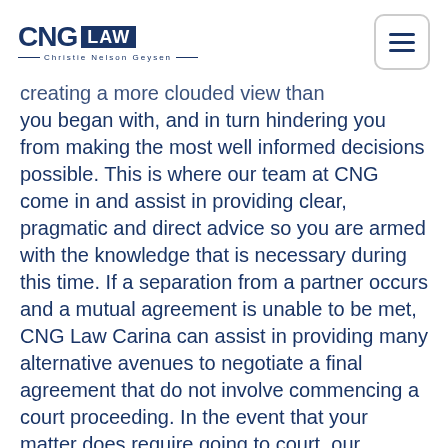CNG LAW — Christie Nelson Geysen
creating a more clouded view than you began with, and in turn hindering you from making the most well informed decisions possible. This is where our team at CNG come in and assist in providing clear, pragmatic and direct advice so you are armed with the knowledge that is necessary during this time. If a separation from a partner occurs and a mutual agreement is unable to be met, CNG Law Carina can assist in providing many alternative avenues to negotiate a final agreement that do not involve commencing a court proceeding. In the event that your matter does require going to court, our dedicated Family Law